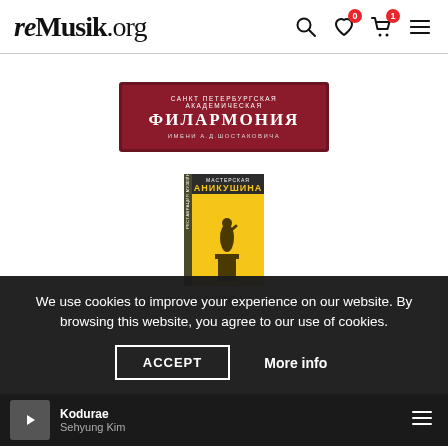reMusik.org
[Figure (logo): Saint Petersburg Academic Philharmonia named after Shostakovich — dark red banner with Cyrillic text: САНКТ ПЕТЕРБУРГСКАЯ АКАДЕМИЧЕСКАЯ ФИЛАРМОНИЯ ИМЕНИ А.ДШОСТАКОВИЧА]
[Figure (illustration): Anikushina workshop book cover — yellow cover with silhouette of statue on pedestal and Cyrillic text МАСТЕРСКАЯ АНИКУШИНА]
We use cookies to improve your experience on our website. By browsing this website, you agree to our use of cookies.
ACCEPT   More info
Kodurae
Sehyung Kim